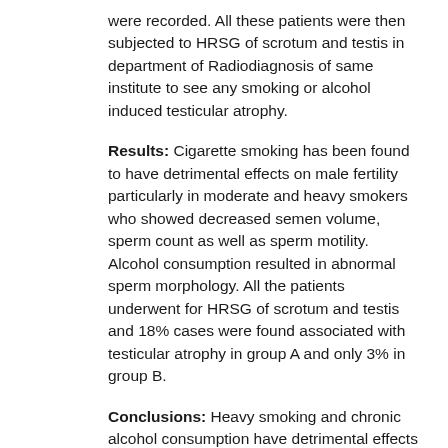were recorded. All these patients were then subjected to HRSG of scrotum and testis in department of Radiodiagnosis of same institute to see any smoking or alcohol induced testicular atrophy.
Results: Cigarette smoking has been found to have detrimental effects on male fertility particularly in moderate and heavy smokers who showed decreased semen volume, sperm count as well as sperm motility. Alcohol consumption resulted in abnormal sperm morphology. All the patients underwent for HRSG of scrotum and testis and 18% cases were found associated with testicular atrophy in group A and only 3% in group B.
Conclusions: Heavy smoking and chronic alcohol consumption have detrimental effects on both quality as well as quantity of sperms. Moderate to heavy smoking was associated with decreased semen volume, sperm count and motility whereas chronic alcoholism was related to increased number of morphologically abnormal